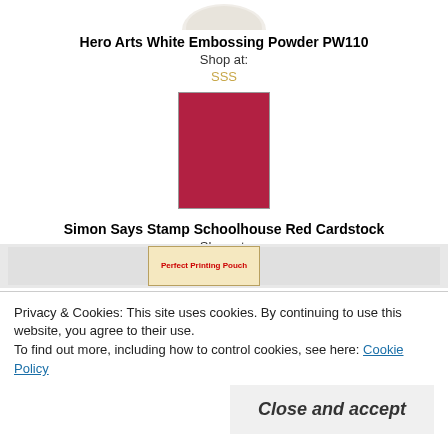[Figure (photo): Partial view of Hero Arts White Embossing Powder product at top of page]
Hero Arts White Embossing Powder PW110
Shop at:
SSS
[Figure (photo): Simon Says Stamp Schoolhouse Red Cardstock — solid red cardstock sheet]
Simon Says Stamp Schoolhouse Red Cardstock
Shop at:
SSS
[Figure (photo): Partial view of Perfect Printing Pouch product on gray background]
Privacy & Cookies: This site uses cookies. By continuing to use this website, you agree to their use.
To find out more, including how to control cookies, see here: Cookie Policy
Close and accept
SSS